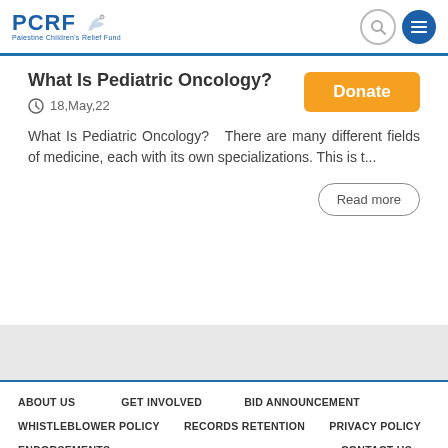PCRF Palestine Children's Relief Fund
What Is Pediatric Oncology?
18,May,22
What Is Pediatric Oncology?   There are many different fields of medicine, each with its own specializations. This is t...
Read more
ABOUT US   GET INVOLVED   BID ANNOUNCEMENT   WHISTLEBLOWER POLICY   RECORDS RETENTION   PRIVACY POLICY   ENDORSEMENTS   CONTACT US   Powered By blue